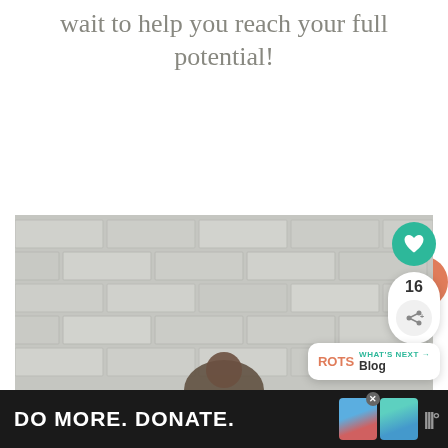wait to help you reach your full potential!
CHECK OUT OUR WEBSITE!
[Figure (photo): A photo showing a brick wall background with a person visible at the bottom, with UI overlay elements including a heart/like button (green circle), a share count showing 16, a share button, and a 'What's Next → Blog' widget]
DO MORE. DONATE.